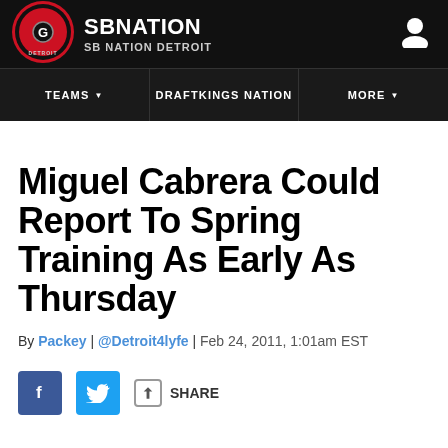SB NATION / SB NATION DETROIT
[Figure (logo): SB Nation Detroit circular logo with letter G and red/black design]
Miguel Cabrera Could Report To Spring Training As Early As Thursday
By Packey | @Detroit4lyfe | Feb 24, 2011, 1:01am EST